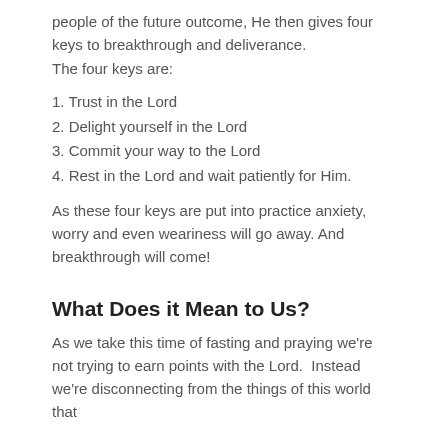people of the future outcome, He then gives four keys to breakthrough and deliverance. The four keys are:
1. Trust in the Lord
2. Delight yourself in the Lord
3. Commit your way to the Lord
4. Rest in the Lord and wait patiently for Him.
As these four keys are put into practice anxiety, worry and even weariness will go away. And breakthrough will come!
What Does it Mean to Us?
As we take this time of fasting and praying we're not trying to earn points with the Lord.  Instead we're disconnecting from the things of this world that